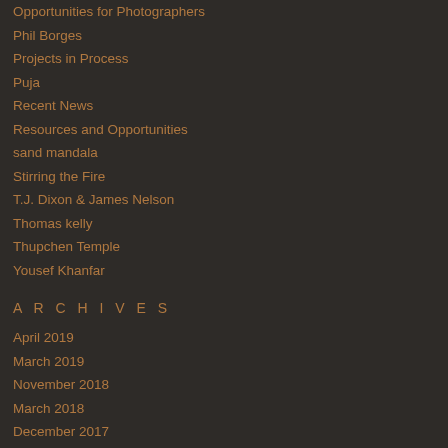Opportunities for Photographers
Phil Borges
Projects in Process
Puja
Recent News
Resources and Opportunities
sand mandala
Stirring the Fire
T.J. Dixon & James Nelson
Thomas kelly
Thupchen Temple
Yousef Khanfar
A R C H I V E S
April 2019
March 2019
November 2018
March 2018
December 2017
November 2017
October 2017
January 2017
December 2016